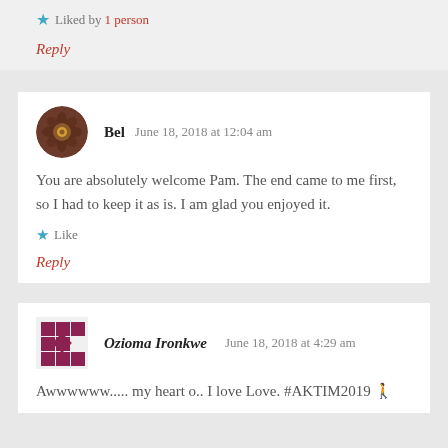★ Liked by 1person
Reply
Bel   June 18, 2018 at 12:04 am
You are absolutely welcome Pam. The end came to me first, so I had to keep it as is. I am glad you enjoyed it.
★ Like
Reply
Ozioma Ironkwe   June 18, 2018 at 4:29 am
Awwwwww..... my heart o.. I love Love. #AKTIM2019 🚶